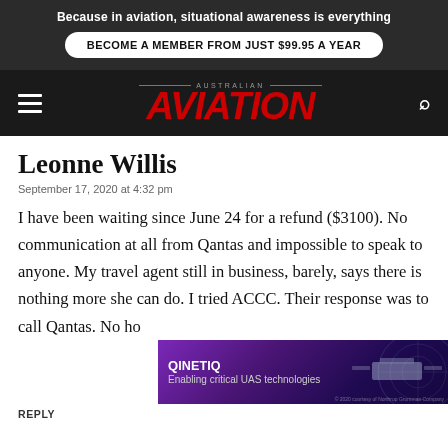Because in aviation, situational awareness is everything
BECOME A MEMBER FROM JUST $99.95 A YEAR
[Figure (logo): Australian Aviation magazine logo with red italic AVIATION text]
Leonne Willis
September 17, 2020 at 4:32 pm
I have been waiting since June 24 for a refund ($3100). No communication at all from Qantas and impossible to speak to anyone. My travel agent still in business, barely, says there is nothing more she can do. I tried ACCC. Their response was to call Qantas. No ho
[Figure (other): QinetiQ advertisement banner: Enabling critical UAS technologies, with purple/dark background and drone imagery]
REPLY